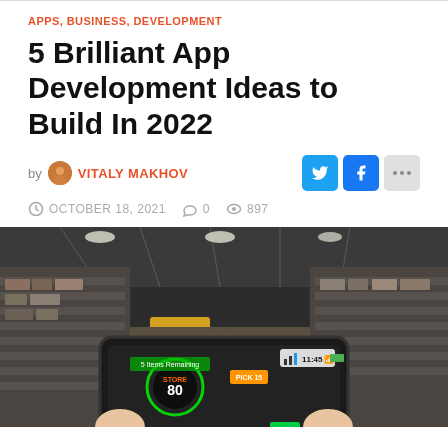APPS, BUSINESS, DEVELOPMENT
5 Brilliant App Development Ideas to Build In 2022
by VITALY MAKHOV
OCTOBER 18, 2021  0  897
[Figure (photo): Person holding a tablet displaying augmented reality warehouse management interface with green circular gauge showing '80', pick indicators, and AR overlays in a warehouse setting]